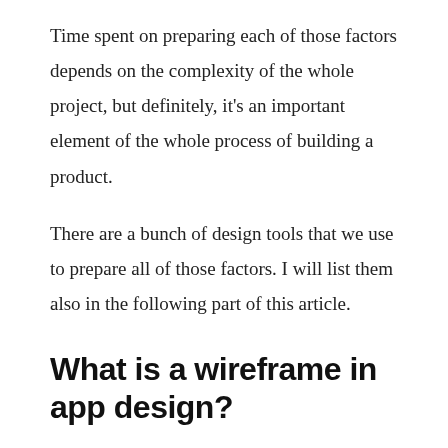Time spent on preparing each of those factors depends on the complexity of the whole project, but definitely, it's an important element of the whole process of building a product.
There are a bunch of design tools that we use to prepare all of those factors. I will list them also in the following part of this article.
What is a wireframe in app design?
According to Anton Suprunenko and his article on Smashing magazine, wireframe...